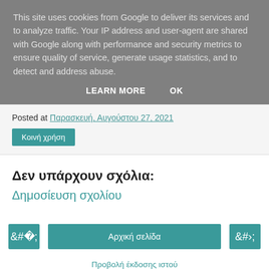This site uses cookies from Google to deliver its services and to analyze traffic. Your IP address and user-agent are shared with Google along with performance and security metrics to ensure quality of service, generate usage statistics, and to detect and address abuse.
LEARN MORE   OK
Posted at Παρασκευή, Αυγούστου 27, 2021
Κοινή χρήση
Δεν υπάρχουν σχόλια:
Δημοσίευση σχολίου
‹   Αρχική σελίδα   ›
Προβολή έκδοσης ιστού